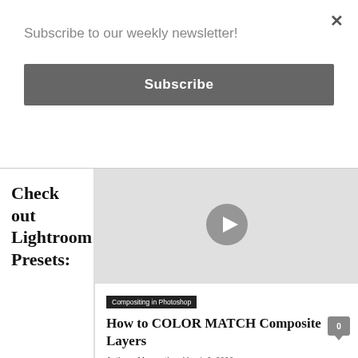Subscribe to our weekly newsletter!
Subscribe
Check out Lightroom Presets:
[Figure (other): Video thumbnail with play button icon]
Compositing in Photoshop
How to COLOR MATCH Composite Layers
Anthony Morganti  -  March 6, 2022